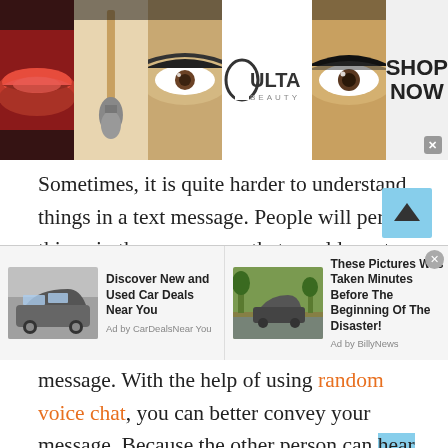[Figure (screenshot): Ulta Beauty banner advertisement showing makeup images (lips, brush, eye) with Ulta logo and 'SHOP NOW' call to action]
Sometimes, it is quite harder to understand things in a text message. People will perceive things in the wrong way that would create confusion and misunderstandings. So, to get rid of misunderstandings and confusion, it is always suggested to go with a voice message. With the help of using random voice chat, you can better convey your message. Because the other person can hear you clearly and of course, understand what you
[Figure (screenshot): Bottom advertisement bar with two ads: 'Discover New and Used Car Deals Near You' by CarDealsNearYou, and 'These Pictures Was Taken Minutes Before The Beginning Of The Disaster!' by BillyNews]